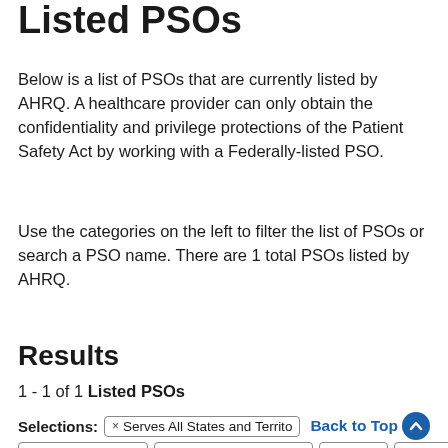Listed PSOs
Below is a list of PSOs that are currently listed by AHRQ. A healthcare provider can only obtain the confidentiality and privilege protections of the Patient Safety Act by working with a Federally-listed PSO.
Use the categories on the left to filter the list of PSOs or search a PSO name. There are 1 total PSOs listed by AHRQ.
Results
1 - 1 of 1 Listed PSOs
Selections: × Serves All States and Territo Back to Top × Internal medicine × Rehabilitation hospital × 50 - 99 × 100 - 199